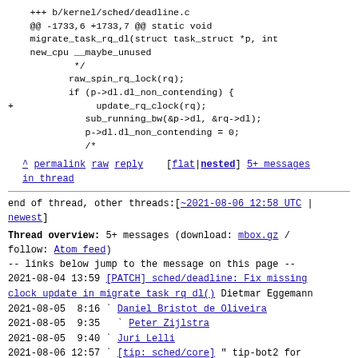+++ b/kernel/sched/deadline.c
@@ -1733,6 +1733,7 @@ static void migrate_task_rq_dl(struct task_struct *p, int new_cpu __maybe_unused
         */
        raw_spin_rq_lock(rq);
        if (p->dl.dl_non_contending) {
+               update_rq_clock(rq);
               sub_running_bw(&p->dl, &rq->dl);
               p->dl.dl_non_contending = 0;
               /*
^ permalink raw reply [flat|nested] 5+ messages in thread
end of thread, other threads:[~2021-08-06 12:58 UTC | newest]
Thread overview: 5+ messages (download: mbox.gz / follow: Atom feed)
-- links below jump to the message on this page --
2021-08-04 13:59 [PATCH] sched/deadline: Fix missing clock update in migrate task rq dl() Dietmar Eggemann
2021-08-05  8:16 ` Daniel Bristot de Oliveira
2021-08-05  9:35   ` Peter Zijlstra
2021-08-05  9:40 ` Juri Lelli
2021-08-06 12:57 ` [tip: sched/core] " tip-bot2 for Dietmar Eggemann